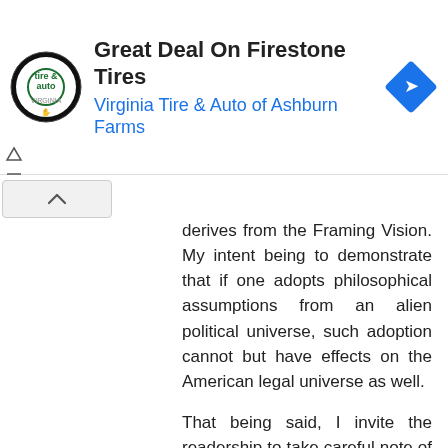[Figure (screenshot): Advertisement banner for Virginia Tire & Auto of Ashburn Farms featuring Firestone Tires deal, with circular logo on left and blue navigation icon on right.]
derives from the Framing Vision. My intent being to demonstrate that if one adopts philosophical assumptions from an alien political universe, such adoption cannot but have effects on the American legal universe as well.
That being said, I invite the readership to take careful note of how (as has already been somewhat demonstrated in recent comments by various commenters) certain mentalities will process the information that I have a blog.
And since I make no profit from the blog, I certainly invite one and all to peruse it, and perhaps if their reading comprehension is up to it, derive some benefit from it.